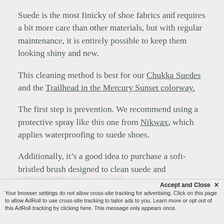Suede is the most finicky of shoe fabrics and requires a bit more care than other materials, but with regular maintenance, it is entirely possible to keep them looking shiny and new.
This cleaning method is best for our Chukka Suedes and the Trailhead in the Mercury Sunset colorway.
The first step is prevention. We recommend using a protective spray like this one from Nikwax, which applies waterproofing to suede shoes.
Additionally, it’s a good idea to purchase a soft-bristled brush designed to clean suede and [text obscured by banner]
Accept and Close × Your browser settings do not allow cross-site tracking for advertising. Click on this page to allow AdRoll to use cross-site tracking to tailor ads to you. Learn more or opt out of this AdRoll tracking by clicking here. This message only appears once.